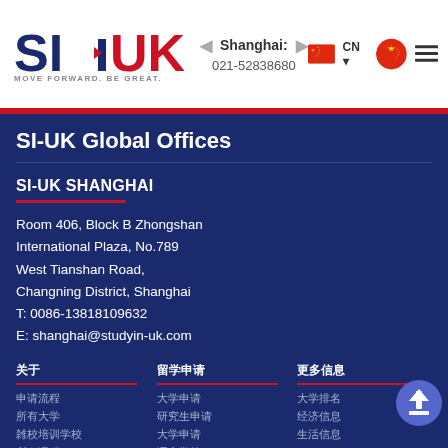SI-UK | Shanghai: 021-52838680 | CN
SI-UK Global Offices
SI-UK SHANGHAI
Room 406, Block B Zhongshan International Plaza, No.789 West Tianshan Road, Changning District, Shanghai
T: 0086-13818109632
E: shanghai@studyin-uk.com
关于 (column header 1)
留学申请 (column header 2)
更多信息 (column header 3)
申请流程
所有大学
雅思培训学校
所有课程
申请常见问题
全球办公室
大学申请
研究生申请
大学申请
语言学校
申请常见问题
大学 / 专业
大学排名
经济信息
生活信息
A-Z
大学链接